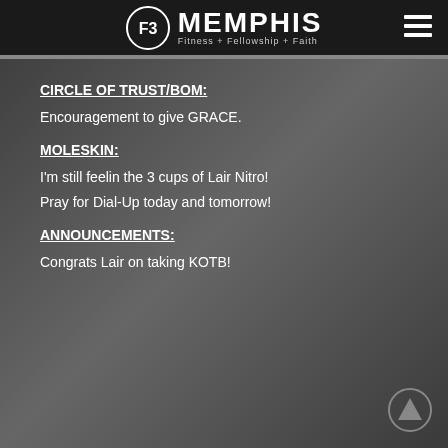F3 MEMPHIS Fitness + Fellowship + Faith
CIRCLE OF TRUST/BOM:
Encouragement to give GRACE.
MOLESKIN:
I'm still feelin the 3 cups of Lair Nitro!
Pray for Dial-Up today and tomorrow!
ANNOUNCEMENTS:
Congrats Lair on taking KOTB!